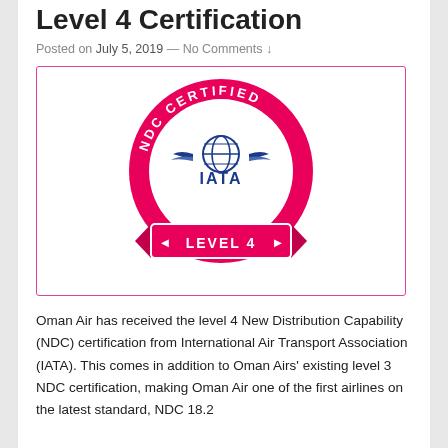Level 4 Certification
Posted on July 5, 2019 — No Comments ↓
[Figure (logo): IATA NDC Certified Level 4 badge — pink circular badge with white text 'NDC CERTIFIED' around the top arc, IATA globe and wings logo in the center, and a pink ribbon banner at the bottom reading 'LEVEL 4' with chevron arrows.]
Oman Air has received the level 4 New Distribution Capability (NDC) certification from International Air Transport Association (IATA). This comes in addition to Oman Airs' existing level 3 NDC certification, making Oman Air one of the first airlines on the latest standard, NDC 18.2